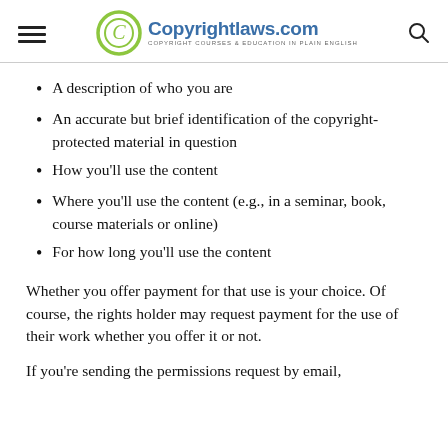Copyrightlaws.com — COPYRIGHT COURSES & EDUCATION IN PLAIN ENGLISH
A description of who you are
An accurate but brief identification of the copyright-protected material in question
How you'll use the content
Where you'll use the content (e.g., in a seminar, book, course materials or online)
For how long you'll use the content
Whether you offer payment for that use is your choice. Of course, the rights holder may request payment for the use of their work whether you offer it or not.
If you're sending the permissions request by email,